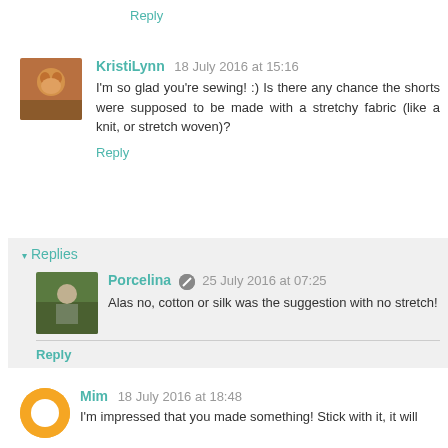Reply
KristiLynn 18 July 2016 at 15:16
I'm so glad you're sewing! :) Is there any chance the shorts were supposed to be made with a stretchy fabric (like a knit, or stretch woven)?
Reply
Replies
Porcelina 25 July 2016 at 07:25
Alas no, cotton or silk was the suggestion with no stretch!
Reply
Mim 18 July 2016 at 18:48
I'm impressed that you made something! Stick with it, it will